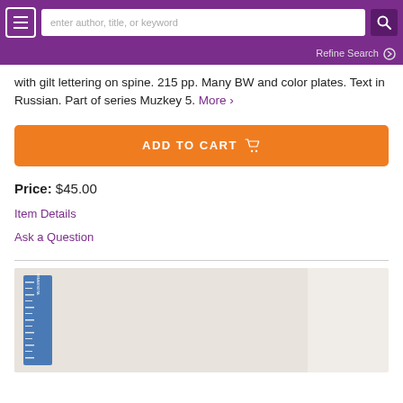Navigation bar with menu, search input, and search button
with gilt lettering on spine. 215 pp. Many BW and color plates. Text in Russian. Part of series Muzkey 5. More >
ADD TO CART
Price: $45.00
Item Details
Ask a Question
[Figure (photo): Photo of a book with a ruler, showing a light-colored cover against a light background.]